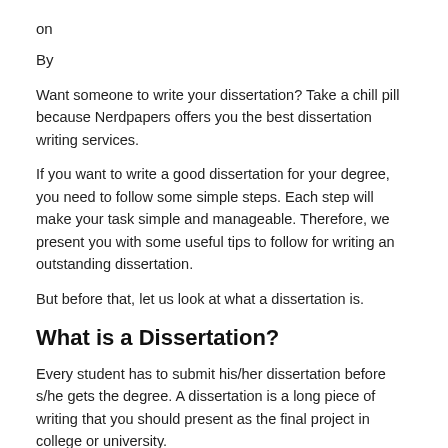on
By
Want someone to write your dissertation? Take a chill pill because Nerdpapers offers you the best dissertation writing services.
If you want to write a good dissertation for your degree, you need to follow some simple steps. Each step will make your task simple and manageable. Therefore, we present you with some useful tips to follow for writing an outstanding dissertation.
But before that, let us look at what a dissertation is.
What is a Dissertation?
Every student has to submit his/her dissertation before s/he gets the degree. A dissertation is a long piece of writing that you should present as the final project in college or university.
You should not confuse a dissertation with an essay. Unlike an